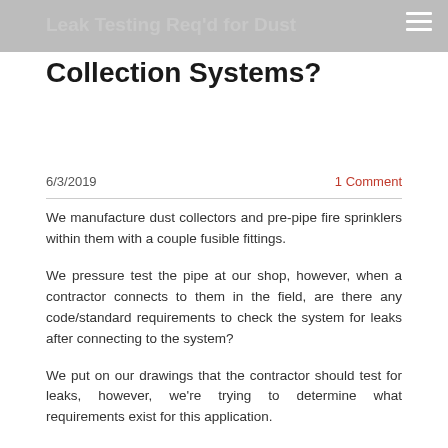≡
Leak Testing Req'd for Dust Collection Systems?
6/3/2019
1 Comment
We manufacture dust collectors and pre-pipe fire sprinklers within them with a couple fusible fittings.
We pressure test the pipe at our shop, however, when a contractor connects to them in the field, are there any code/standard requirements to check the system for leaks after connecting to the system?
We put on our drawings that the contractor should test for leaks, however, we're trying to determine what requirements exist for this application.
The problem we're running into is that the connection is